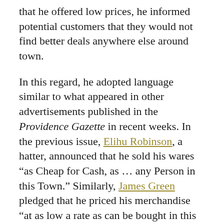that he offered low prices, he informed potential customers that they would not find better deals anywhere else around town.
In this regard, he adopted language similar to what appeared in other advertisements published in the Providence Gazette in recent weeks. In the previous issue, Elihu Robinson, a hatter, announced that he sold his wares “as Cheap for Cash, as … any Person in this Town.” Similarly, James Green pledged that he priced his merchandise “at as low a rate as can be bought in this town.” Both Robinson and Green also favorably compared their prices to those in other places (indicating that consumers might travel to do some of their shopping or order